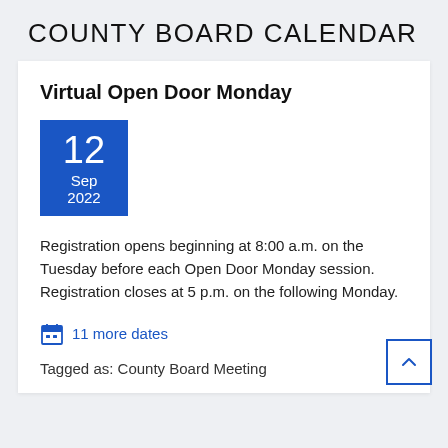COUNTY BOARD CALENDAR
Virtual Open Door Monday
12 Sep 2022
Registration opens beginning at 8:00 a.m. on the Tuesday before each Open Door Monday session. Registration closes at 5 p.m. on the following Monday.
11 more dates
Tagged as: County Board Meeting